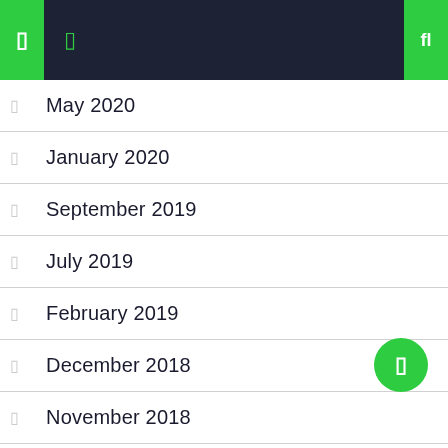Navigation header bar with icons
May 2020
January 2020
September 2019
July 2019
February 2019
December 2018
November 2018
June 2018
February 2018
July 2013